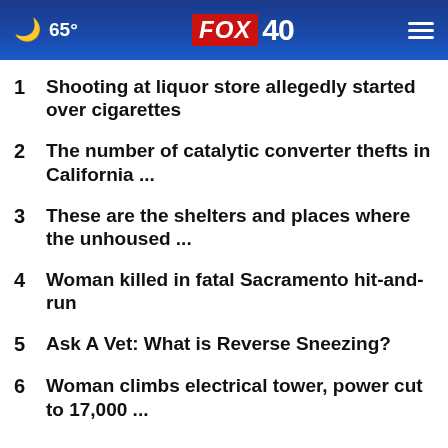65° FOX 40
1 Shooting at liquor store allegedly started over cigarettes
2 The number of catalytic converter thefts in California ...
3 These are the shelters and places where the unhoused ...
4 Woman killed in fatal Sacramento hit-and-run
5 Ask A Vet: What is Reverse Sneezing?
6 Woman climbs electrical tower, power cut to 17,000 ...